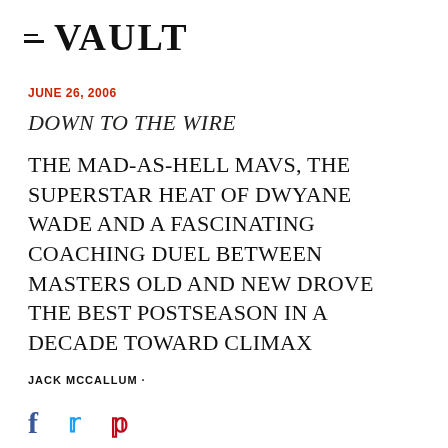VAULT
JUNE 26, 2006
DOWN TO THE WIRE
THE MAD-AS-HELL MAVS, THE SUPERSTAR HEAT OF DWYANE WADE AND A FASCINATING COACHING DUEL BETWEEN MASTERS OLD AND NEW DROVE THE BEST POSTSEASON IN A DECADE TOWARD CLIMAX
JACK MCCALLUM ·
[Figure (other): Social share icons: Facebook (f), Twitter (bird), Pinterest (p)]